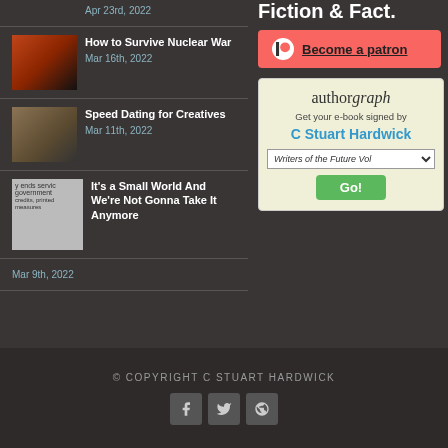Apr 23rd, 2022
How to Survive Nuclear War
Mar 16th, 2022
Speed Dating for Creatives
Mar 11th, 2022
It's a Small World And We're Not Gonna Take It Anymore
Mar 9th, 2022
Fiction & Fact.
[Figure (other): Patreon become a patron button with Patreon logo icon]
[Figure (other): Authorgraph widget - Get your e-book signed by C Stuart Hardwick, with Writers of the Future Vol dropdown and Go button]
© COPYRIGHT C STUART HARDWICK